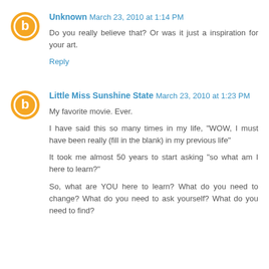Unknown March 23, 2010 at 1:14 PM
Do you really believe that? Or was it just a inspiration for your art.
Reply
Little Miss Sunshine State March 23, 2010 at 1:23 PM
My favorite movie. Ever.
I have said this so many times in my life, "WOW, I must have been really (fill in the blank) in my previous life"
It took me almost 50 years to start asking "so what am I here to learn?"
So, what are YOU here to learn? What do you need to change? What do you need to ask yourself? What do you need to find?